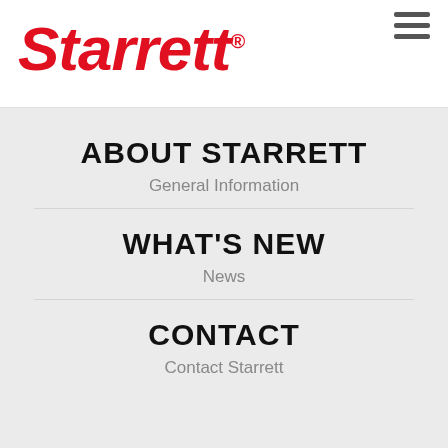[Figure (logo): Starrett brand logo in red italic bold font with registered trademark symbol]
ABOUT STARRETT
General Information
WHAT'S NEW
News
CONTACT
Contact Starrett